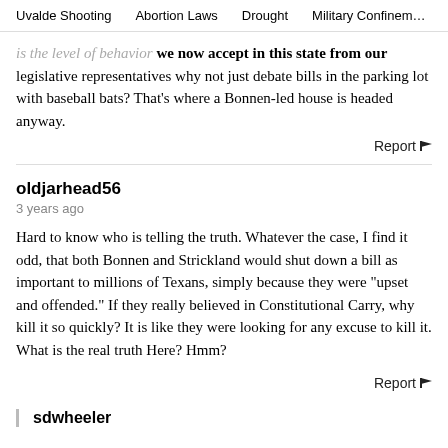Uvalde Shooting   Abortion Laws   Drought   Military Confinement
is the level of behavior we now accept in this state from our legislative representatives why not just debate bills in the parking lot with baseball bats? That's where a Bonnen-led house is headed anyway.
Report
oldjarhead56
3 years ago
Hard to know who is telling the truth. Whatever the case, I find it odd, that both Bonnen and Strickland would shut down a bill as important to millions of Texans, simply because they were "upset and offended." If they really believed in Constitutional Carry, why kill it so quickly? It is like they were looking for any excuse to kill it. What is the real truth Here? Hmm?
Report
sdwheeler